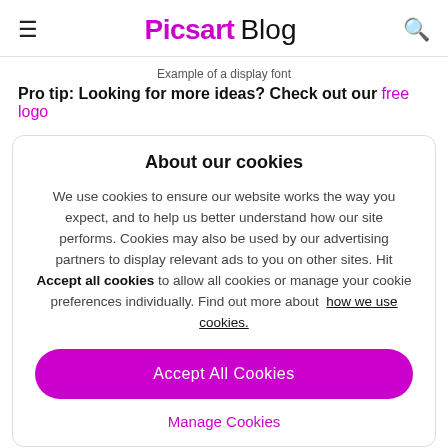Picsart Blog
Example of a display font
Pro tip: Looking for more ideas? Check out our free logo
About our cookies
We use cookies to ensure our website works the way you expect, and to help us better understand how our site performs. Cookies may also be used by our advertising partners to display relevant ads to you on other sites. Hit Accept all cookies to allow all cookies or manage your cookie preferences individually. Find out more about how we use cookies.
Accept All Cookies
Manage Cookies